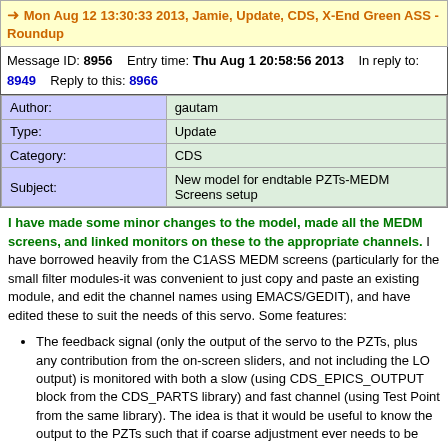Mon Aug 12 13:30:33 2013, Jamie, Update, CDS, X-End Green ASS - Roundup
Message ID: 8956   Entry time: Thu Aug 1 20:58:56 2013   In reply to: 8949   Reply to this: 8966
| Author: | gautam |
| Type: | Update |
| Category: | CDS |
| Subject: | New model for endtable PZTs-MEDM Screens setup |
I have made some minor changes to the model, made all the MEDM screens, and linked monitors on these to the appropriate channels. I have borrowed heavily from the C1ASS MEDM screens (particularly for the small filter modules-it was convenient to just copy and paste an existing module, and edit the channel names using EMACS/GEDIT), and have edited these to suit the needs of this servo. Some features:
The feedback signal (only the output of the servo to the PZTs, plus any contribution from the on-screen sliders, and not including the LO output) is monitored with both a slow (using CDS_EPICS_OUTPUT block from the CDS_PARTS library) and fast channel (using Test Point from the same library). The idea is that it would be useful to know the output to the PZTs such that if coarse adjustment ever needs to be done at the